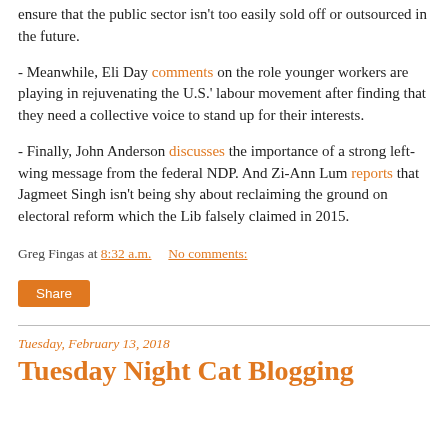ensure that the public sector isn't too easily sold off or outsourced in the future.
- Meanwhile, Eli Day comments on the role younger workers are playing in rejuvenating the U.S.' labour movement after finding that they need a collective voice to stand up for their interests.
- Finally, John Anderson discusses the importance of a strong left-wing message from the federal NDP. And Zi-Ann Lum reports that Jagmeet Singh isn't being shy about reclaiming the ground on electoral reform which the Lib falsely claimed in 2015.
Greg Fingas at 8:32 a.m.   No comments:
Share
Tuesday, February 13, 2018
Tuesday Night Cat Blogging